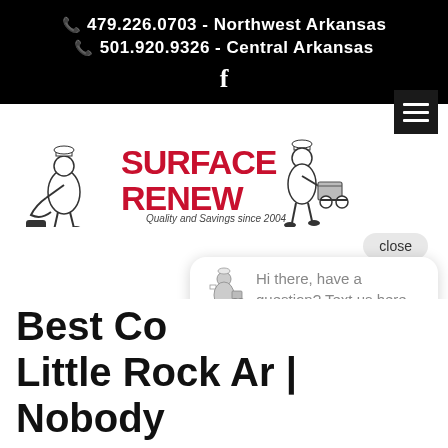📞 479.226.0703 - Northwest Arkansas
📞 501.920.9326 - Central Arkansas
f
[Figure (logo): Surface Renew logo with cartoon cleaning figures and text 'SURFACE RENEW - Quality and Savings since 2004']
Hi there, have a question? Text us here.
Best Co... Little Rock Ar | Nobody Does Better.
Jun 2, 2020 | Best Concrete Staining Little Rock Ar